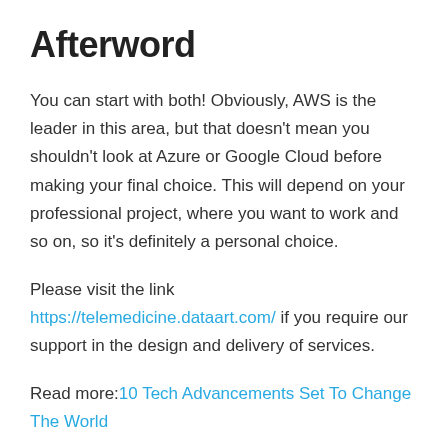Afterword
You can start with both! Obviously, AWS is the leader in this area, but that doesn't mean you shouldn't look at Azure or Google Cloud before making your final choice. This will depend on your professional project, where you want to work and so on, so it's definitely a personal choice.
Please visit the link https://telemedicine.dataart.com/ if you require our support in the design and delivery of services.
Read more:10 Tech Advancements Set To Change The World